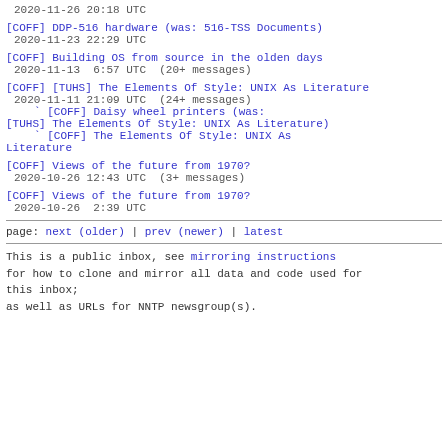2020-11-26 20:18 UTC
[COFF] DDP-516 hardware (was: 516-TSS Documents)
 2020-11-23 22:29 UTC
[COFF] Building OS from source in the olden days
 2020-11-13  6:57 UTC  (20+ messages)
[COFF] [TUHS] The Elements Of Style: UNIX As Literature
 2020-11-11 21:09 UTC  (24+ messages)
` [COFF] Daisy wheel printers (was: [TUHS] The Elements Of Style: UNIX As Literature)
` [COFF] The Elements Of Style: UNIX As Literature
[COFF] Views of the future from 1970?
 2020-10-26 12:43 UTC  (3+ messages)
[COFF] Views of the future from 1970?
 2020-10-26  2:39 UTC
page: next (older) | prev (newer) | latest
This is a public inbox, see mirroring instructions
for how to clone and mirror all data and code used for
this inbox;
as well as URLs for NNTP newsgroup(s).